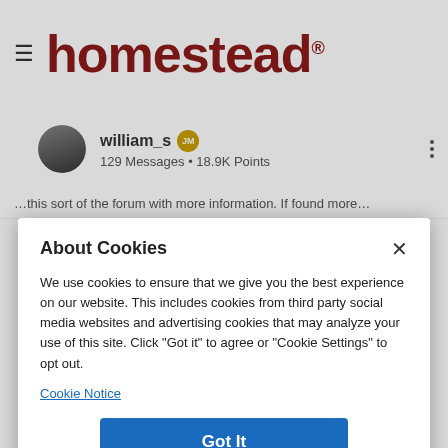homestead®
william_s  129 Messages • 18.9K Points
About Cookies
We use cookies to ensure that we give you the best experience on our website. This includes cookies from third party social media websites and advertising cookies that may analyze your use of this site. Click "Got it" to agree or "Cookie Settings" to opt out.
Cookie Notice
Got It
Cookies Settings